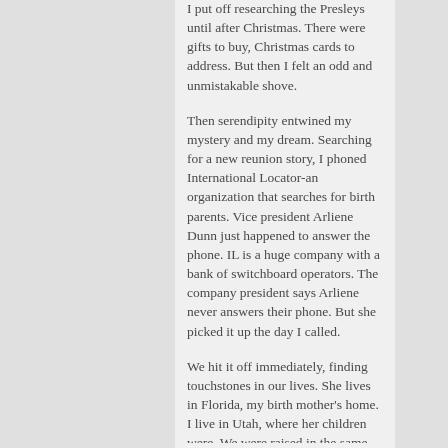I put off researching the Presleys until after Christmas. There were gifts to buy, Christmas cards to address. But then I felt an odd and unmistakable shove.
Then serendipity entwined my mystery and my dream. Searching for a new reunion story, I phoned International Locator-an organization that searches for birth parents. Vice president Arliene Dunn just happened to answer the phone. IL is a huge company with a bank of switchboard operators. The company president says Arliene never answers their phone. But she picked it up the day I called.
We hit it off immediately, finding touchstones in our lives. She lives in Florida, my birth mother's home. I live in Utah, where her children were. We were raised in the same religious faith and are both adopted. It was like someone who knew us grasped our two telephone wires and wrapped them around each other.